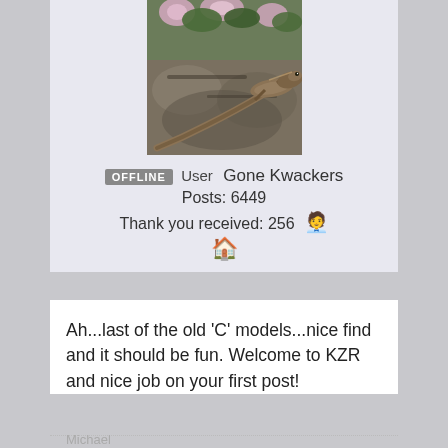[Figure (photo): Profile avatar photo showing a lizard/skink on rocky ground with pink flowers in background]
OFFLINE  User  Gone Kwackers
Posts: 6449
Thank you received: 256
Ah...last of the old 'C' models...nice find and it should be fun. Welcome to KZR and nice job on your first post!
Michael
Alvin, Texas